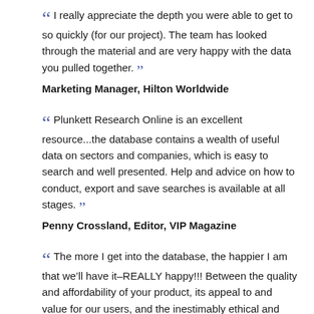“ I really appreciate the depth you were able to get to so quickly (for our project). The team has looked through the material and are very happy with the data you pulled together. ”
Marketing Manager, Hilton Worldwide
“ Plunkett Research Online is an excellent resource...the database contains a wealth of useful data on sectors and companies, which is easy to search and well presented. Help and advice on how to conduct, export and save searches is available at all stages. ”
Penny Crossland, Editor, VIP Magazine
“ The more I get into the database, the happier I am that we’ll have it–REALLY happy!!! Between the quality and affordability of your product, its appeal to and value for our users, and the inestimably ethical and loyalty-guaranteeing conduct of your business, I will always have